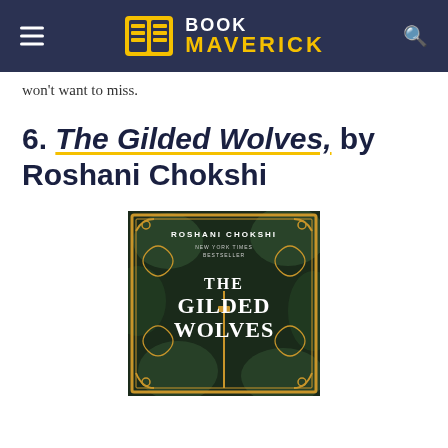Book Maverick
won't want to miss.
6. The Gilded Wolves, by Roshani Chokshi
[Figure (photo): Book cover of The Gilded Wolves by Roshani Chokshi. Dark background with golden ornamental scrollwork, green foliage. Text reads: ROSHANI CHOKSHI, NEW YORK TIMES BESTSELLER, THE GILDED WOLVES.]